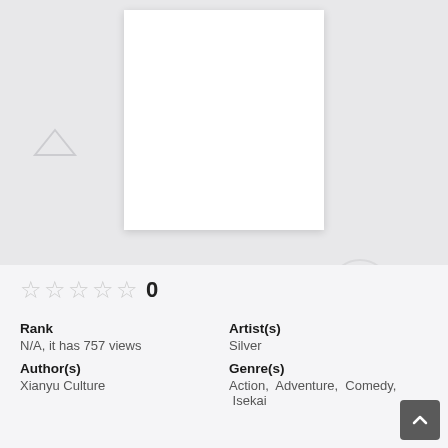[Figure (illustration): White book/manga cover placeholder on gray decorative background with faint game controller icons]
☆☆☆☆☆ 0
Rank
N/A, it has 757 views
Author(s)
Xianyu Culture
Artist(s)
Silver
Genre(s)
Action, Adventure, Comedy, Isekai